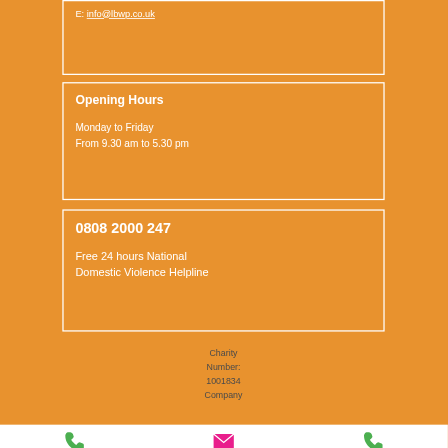E: info@lbwp.co.uk
Opening Hours
Monday to Friday
From 9.30 am to 5.30 pm
0808 2000 247
Free 24 hours National Domestic Violence Helpline
Charity Number:
1001834
Company